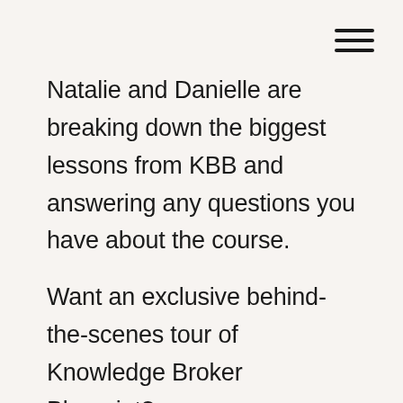[Figure (other): Hamburger menu icon with three horizontal lines in top right corner]
Natalie and Danielle are breaking down the biggest lessons from KBB and answering any questions you have about the course.
Want an exclusive behind-the-scenes tour of Knowledge Broker Blueprint? WATCH THE VIRTUAL TOUR.